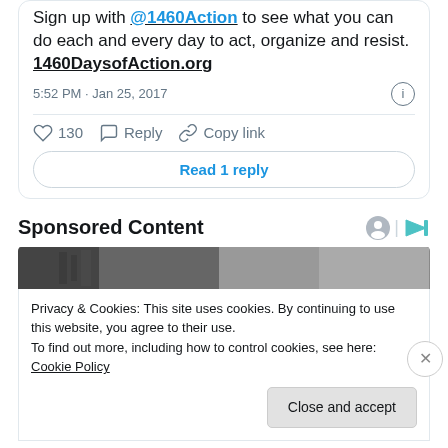Sign up with @1460Action to see what you can do each and every day to act, organize and resist. 1460DaysofAction.org
5:52 PM · Jan 25, 2017
♡ 130   Reply   Copy link
Read 1 reply
Sponsored Content
[Figure (photo): Black and white image strip showing a building or urban scene]
Privacy & Cookies: This site uses cookies. By continuing to use this website, you agree to their use.
To find out more, including how to control cookies, see here: Cookie Policy
Close and accept